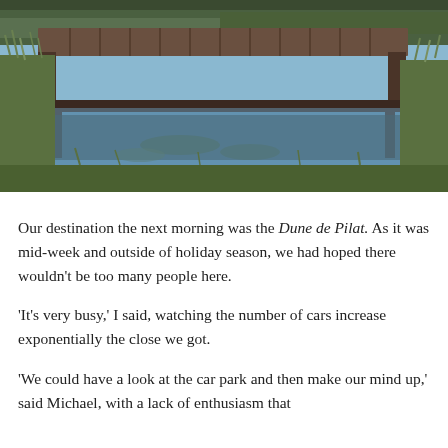[Figure (photo): Photograph of a wooden dock/jetty extending over a calm, reflective lake or pond. Green grasses and vegetation line the near bank. The sky and trees are reflected in the still water. The dock is dark-stained wood with vertical support posts.]
Our destination the next morning was the Dune de Pilat. As it was mid-week and outside of holiday season, we had hoped there wouldn't be too many people here.
'It's very busy,' I said, watching the number of cars increase exponentially the close we got.
'We could have a look at the car park and then make our mind up,' said Michael, with a lack of enthusiasm that